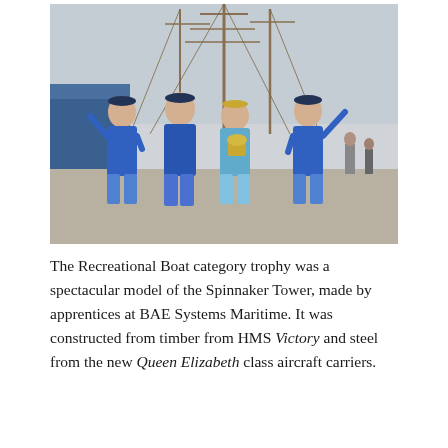[Figure (photo): Four men wearing blue 'Champion 2022' jerseys posing in front of a tall sailing ship (likely HMS Victory or similar), with one man holding a trophy. They are standing on a quayside.]
The Recreational Boat category trophy was a spectacular model of the Spinnaker Tower, made by apprentices at BAE Systems Maritime. It was constructed from timber from HMS Victory and steel from the new Queen Elizabeth class aircraft carriers.